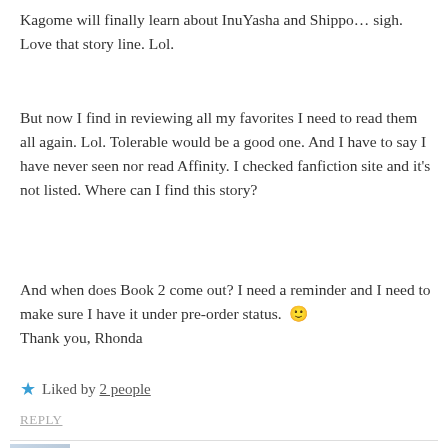Kagome will finally learn about InuYasha and Shippo… sigh. Love that story line. Lol.
But now I find in reviewing all my favorites I need to read them all again. Lol. Tolerable would be a good one. And I have to say I have never seen nor read Affinity. I checked fanfiction site and it's not listed. Where can I find this story?
And when does Book 2 come out? I need a reminder and I need to make sure I have it under pre-order status. 🙂
Thank you, Rhonda
⭐ Liked by 2 people
REPLY